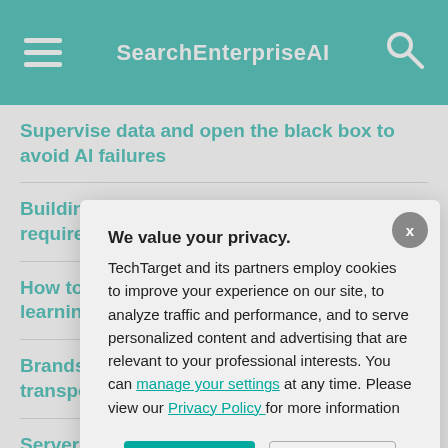SearchEnterpriseAI
Supervise data and open the black box to avoid AI failures
Building a better conversational AI assistant requires emotion
How to cre... learning wi...
Brands mu... transportat...
Serverless ... developme...
Collaborati... implementa...
We value your privacy. TechTarget and its partners employ cookies to improve your experience on our site, to analyze traffic and performance, and to serve personalized content and advertising that are relevant to your professional interests. You can manage your settings at any time. Please view our Privacy Policy for more information